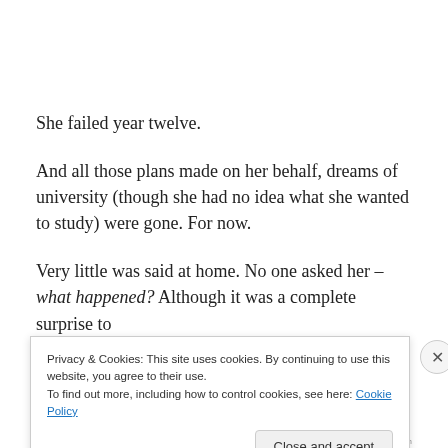She failed year twelve.
And all those plans made on her behalf, dreams of university (though she had no idea what she wanted to study) were gone. For now.
Very little was said at home. No one asked her – what happened? Although it was a complete surprise to
Privacy & Cookies: This site uses cookies. By continuing to use this website, you agree to their use.
To find out more, including how to control cookies, see here: Cookie Policy
Close and accept